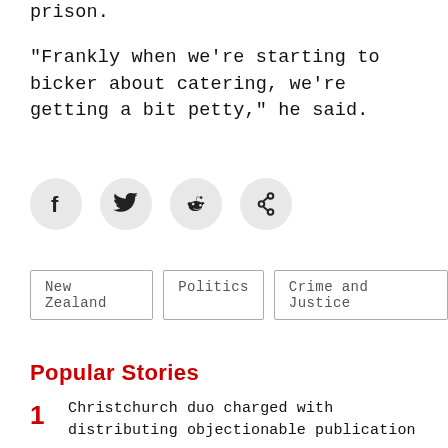prison.
"Frankly when we're starting to bicker about catering, we're getting a bit petty," he said.
[Figure (other): Social share icons: Facebook, Twitter, Reddit, and link/copy icon, each in a light grey circle]
New Zealand
Politics
Crime and Justice
Popular Stories
1 Christchurch duo charged with distributing objectionable publication
2 Investigations begin after person shot in